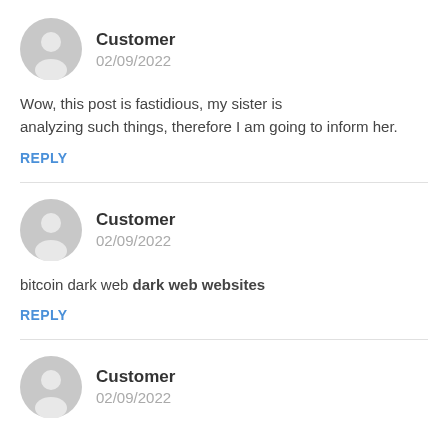[Figure (illustration): Generic user avatar icon - grey circle with person silhouette]
Customer
02/09/2022
Wow, this post is fastidious, my sister is analyzing such things, therefore I am going to inform her.
REPLY
[Figure (illustration): Generic user avatar icon - grey circle with person silhouette]
Customer
02/09/2022
bitcoin dark web dark web websites
REPLY
[Figure (illustration): Generic user avatar icon - grey circle with person silhouette]
Customer
02/09/2022